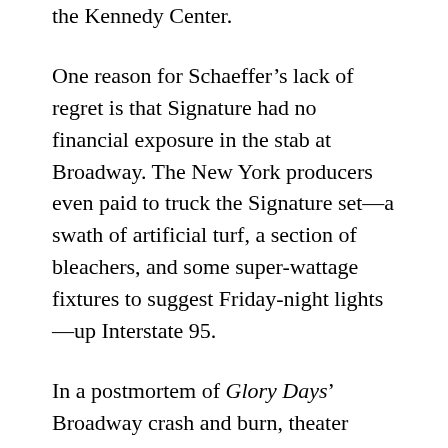the Kennedy Center.
One reason for Schaeffer’s lack of regret is that Signature had no financial exposure in the stab at Broadway. The New York producers even paid to truck the Signature set—a swath of artificial turf, a section of bleachers, and some super-wattage fixtures to suggest Friday-night lights—up Interstate 95.
In a postmortem of Glory Days’ Broadway crash and burn, theater blogger Markowitz wrote that agreeing to the New York transfer by reasoning “Why not? We might get lucky!” was